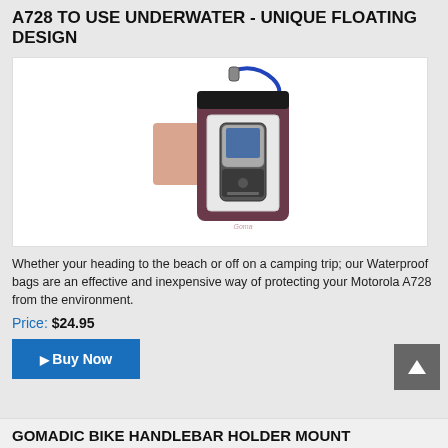A728 TO USE UNDERWATER - UNIQUE FLOATING DESIGN
[Figure (photo): Waterproof bag containing a Motorola A728 flip phone, with a blue lanyard attached at top and a pink/peach cleaning cloth beside it.]
Whether your heading to the beach or off on a camping trip; our Waterproof bags are an effective and inexpensive way of protecting your Motorola A728 from the environment.
Price: $24.95
▶ Buy Now
GOMADIC BIKE HANDLEBAR HOLDER MOUNT